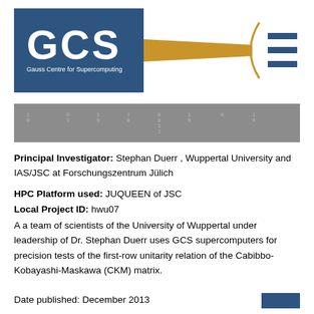[Figure (logo): GCS Gauss Centre for Supercomputing logo with blue box, gold bar, bracket and lines graphic]
[Figure (other): Gray bar with binary/matrix numbers displayed in columns]
Principal Investigator: Stephan Duerr , Wuppertal University and IAS/JSC at Forschungszentrum Jülich
HPC Platform used: JUQUEEN of JSC
Local Project ID: hwu07
A a team of scientists of the University of Wuppertal under leadership of Dr. Stephan Duerr uses GCS supercomputers for precision tests of the first-row unitarity relation of the Cabibbo-Kobayashi-Maskawa (CKM) matrix.
Date published: December 2013